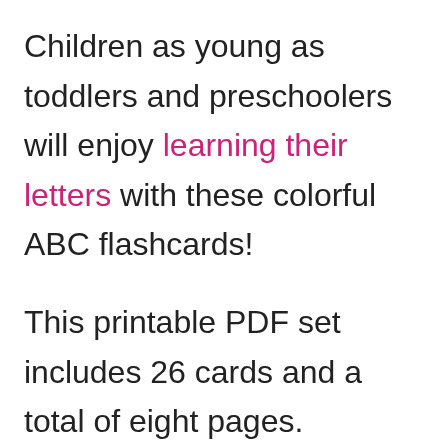Children as young as toddlers and preschoolers will enjoy learning their letters with these colorful ABC flashcards!
This printable PDF set includes 26 cards and a total of eight pages.
Children will learn letter recognition as well as beginning sounds by saying